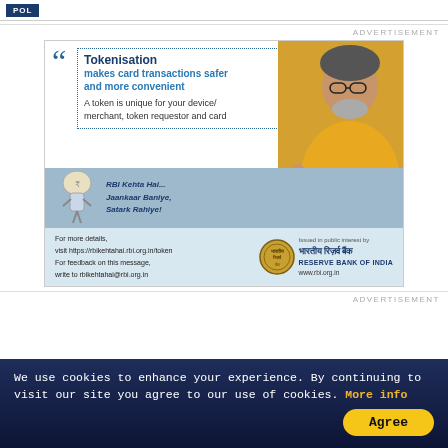POL
ADVERTISEMENT
[Figure (infographic): Reserve Bank of India advertisement about Tokenisation. Features a celebrity (Amitabh Bachchan) in a yellow hoodie gesturing with open hand. Quote box states: 'Tokenisation makes card transactions safer and more convenient. A token is unique for your device/merchant, token requestor and card'. RBI mascot with text 'RBI Kehta Hai... Jaankaar Baniye, Satark Rahiye!'. Bottom has RBI logo and details: visit https://rbikehtahai.rbi.org.in/token, write to rbikehtahai@rbi.org.in. Issued in public interest by Reserve Bank of India, www.rbi.org.in]
ADVERTISEMENT
We use cookies to enhance your experience. By continuing to visit our site you agree to our use of cookies. More info
Agree